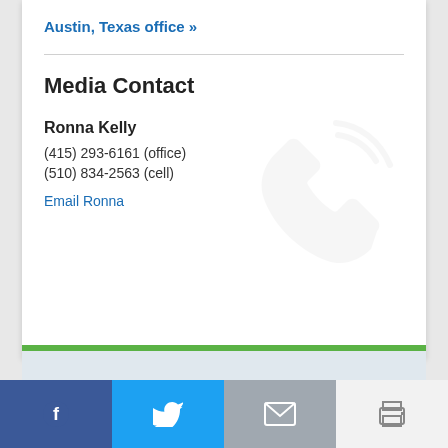Austin, Texas office »
Media Contact
Ronna Kelly
(415) 293-6161 (office)
(510) 834-2563 (cell)
Email Ronna
[Figure (illustration): Light gray telephone handset icon watermark]
[Figure (illustration): Social media share bar at the bottom with Facebook (dark blue), Twitter (light blue), Email (gray), and Print (white/light) buttons with icons]